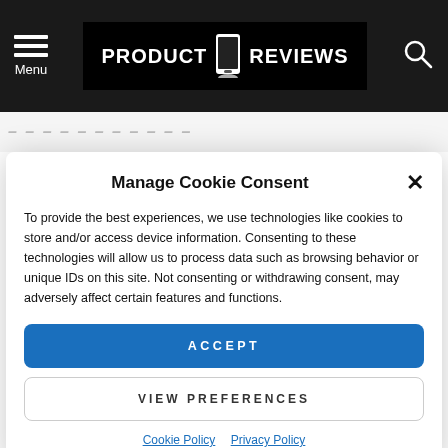PRODUCT REVIEWS — Menu / Search header bar
Manage Cookie Consent
To provide the best experiences, we use technologies like cookies to store and/or access device information. Consenting to these technologies will allow us to process data such as browsing behavior or unique IDs on this site. Not consenting or withdrawing consent, may adversely affect certain features and functions.
ACCEPT
VIEW PREFERENCES
Cookie Policy   Privacy Policy
furniture in-front of a wall and play at great quality. MORE
by Jordan Milham about a year ago